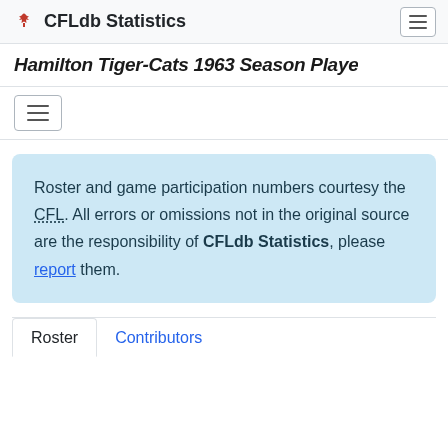CFLdb Statistics
Hamilton Tiger-Cats 1963 Season Player
Roster and game participation numbers courtesy the CFL. All errors or omissions not in the original source are the responsibility of CFLdb Statistics, please report them.
Roster | Contributors